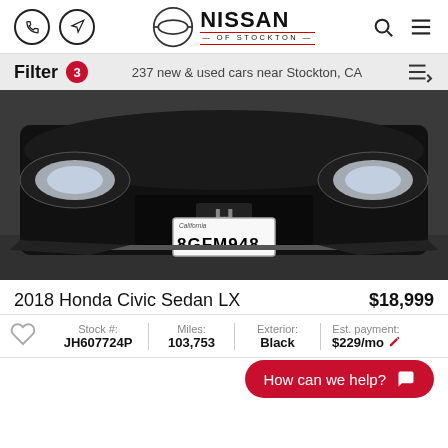Nissan of Stockton — Filter 3 — 237 new & used cars near Stockton, CA
[Figure (photo): Front view of a black Honda Civic sedan with California license plate 8GFM948, photographed in a dealership setting]
2018 Honda Civic Sedan LX
$18,999
| Stock # | Miles: | Exterior: | Est. payment: |
| --- | --- | --- | --- |
| JH607724P | 103,753 | Black | $229/mo |
How can we help?